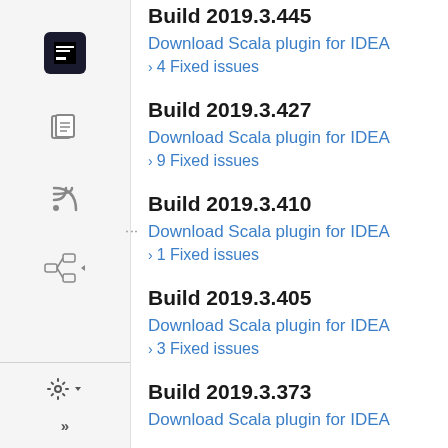Build 2019.3.445
Download Scala plugin for IDEA
4 Fixed issues
Build 2019.3.427
Download Scala plugin for IDEA
9 Fixed issues
Build 2019.3.410
Download Scala plugin for IDEA
1 Fixed issues
Build 2019.3.405
Download Scala plugin for IDEA
3 Fixed issues
Build 2019.3.373
Download Scala plugin for IDEA